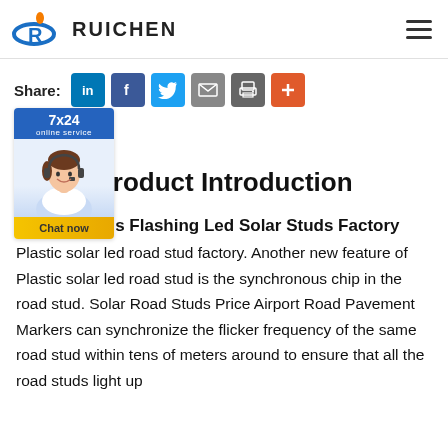RUICHEN
[Figure (infographic): Social share buttons: LinkedIn, Facebook, Twitter, Email, Print, Plus]
[Figure (infographic): 7x24 online service chat widget with customer service representative photo and Chat now button]
Product Introduction
Synchronous Flashing Led Solar Studs Factory
Plastic solar led road stud factory. Another new feature of Plastic solar led road stud is the synchronous chip in the road stud. Solar Road Studs Price Airport Road Pavement Markers can synchronize the flicker frequency of the same road stud within tens of meters around to ensure that all the road studs light up